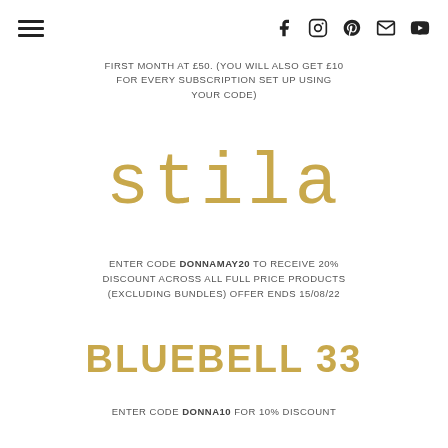[hamburger menu] [social icons: facebook, instagram, pinterest, email, youtube]
ENTER CODE DONNAKOLLO TO RECEIVE YOUR FIRST MONTH AT £50. (YOU WILL ALSO GET £10 FOR EVERY SUBSCRIPTION SET UP USING YOUR CODE)
[Figure (logo): Stila brand logo in gold typewriter-style font]
ENTER CODE DONNAMAY20 TO RECEIVE 20% DISCOUNT ACROSS ALL FULL PRICE PRODUCTS (EXCLUDING BUNDLES) OFFER ENDS 15/08/22
[Figure (logo): BLUEBELL 33 brand logo in gold bold capital letters]
ENTER CODE DONNA10 FOR 10% DISCOUNT